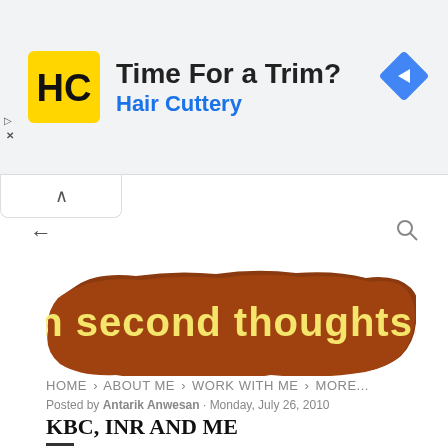[Figure (screenshot): Advertisement banner: Hair Cuttery 'Time For a Trim?' ad with HC logo in yellow/black square, navigation arrow icon on right, and collapse tab below]
[Figure (logo): Blog logo: 'on second thoughts...' in stylized yellow text on a rustic brown textured background]
HOME · ABOUT ME · WORK WITH ME · MORE...
Posted by Antarik Anwesan · Monday, July 26, 2010
KBC, INR AND ME